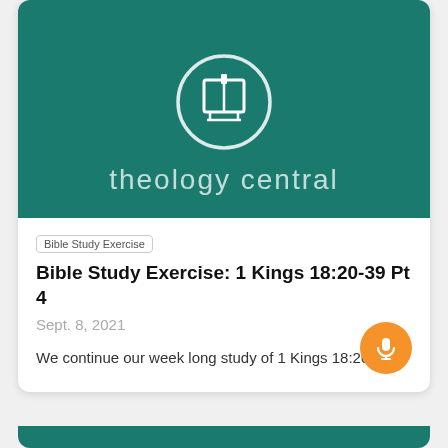[Figure (logo): Theology Central podcast logo: white circle with open book icon on teal/dark green background, with text 'theology central' below in light gray]
Bible Study Exercise
Bible Study Exercise: 1 Kings 18:20-39 Pt 4
Sept. 8, 2021
We continue our week long study of 1 Kings 18:20-39